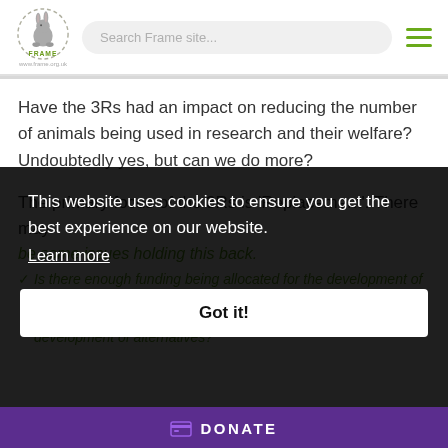[Figure (logo): FRAME logo: circular rabbit illustration with text FRAME and www.frame.org.uk]
Search Frame site...
Have the 3Rs had an impact on reducing the number of animals being used in research and their welfare? Undoubtedly yes, but can we do more?
The primary focus of the 3Rs is 'Replacement'. There may be some issues holding this back.
Is there enough funding being allocated for the development of alternatives?
Should the Government be doing more to push forward the development of alternatives?
This website uses cookies to ensure you get the best experience on our website.
Learn more
Got it!
DONATE